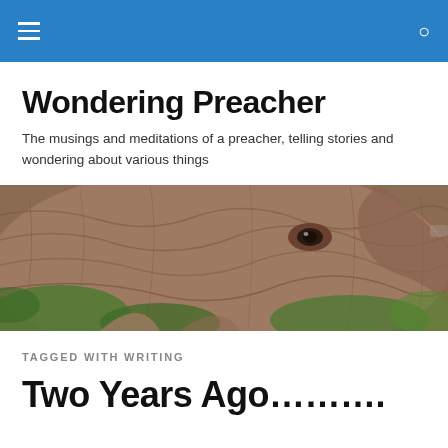Wondering Preacher — navigation bar
Wondering Preacher
The musings and meditations of a preacher, telling stories and wondering about various things
[Figure (photo): Close-up photograph of an elephant's head and eye among green foliage]
TAGGED WITH WRITING
Two Years Ago………..